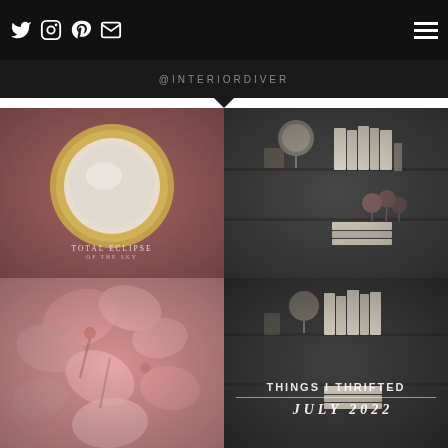@INTERIORDIVER
[Figure (photo): Gold-framed round mirror on dusky rose background with text 'TOTAL ECLIPSE' below]
[Figure (photo): Dark bookshelf with books, a globe-shaped lamp, and dried flowers]
[Figure (photo): Close-up of pink flowers]
[Figure (photo): Dark bookshelf with text overlay 'THINGS I THRIFTED / JULY 2022']